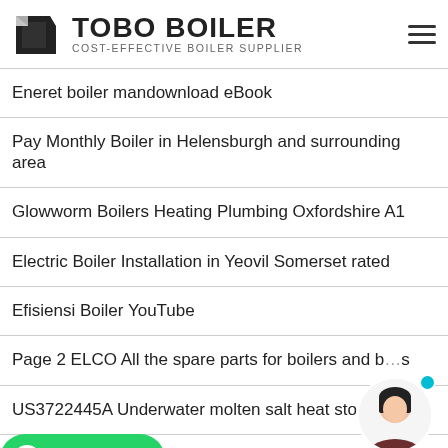TOBO BOILER — COST-EFFECTIVE BOILER SUPPLIER
Eneret boiler mandownload eBook
Pay Monthly Boiler in Helensburgh and surrounding area
Glowworm Boilers Heating Plumbing Oxfordshire A1
Electric Boiler Installation in Yeovil Somerset rated
Efisiensi Boiler YouTube
Page 2 ELCO All the spare parts for boilers and b…s
US3722445A Underwater molten salt heat storage…er
…mbi Boiler 3028466
Boiler Repair Glasgow Glasgow Gas Services